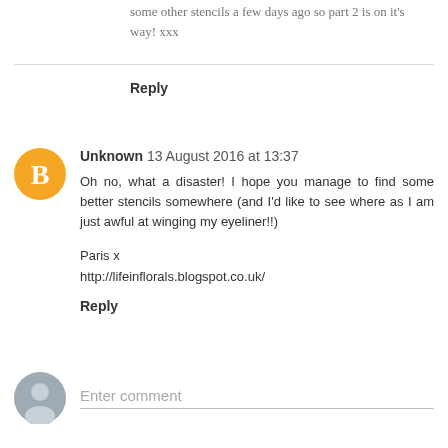some other stencils a few days ago so part 2 is on it's way! xxx
Reply
Unknown  13 August 2016 at 13:37
Oh no, what a disaster! I hope you manage to find some better stencils somewhere (and I'd like to see where as I am just awful at winging my eyeliner!!)
Paris x
http://lifeinflorals.blogspot.co.uk/
Reply
Enter comment